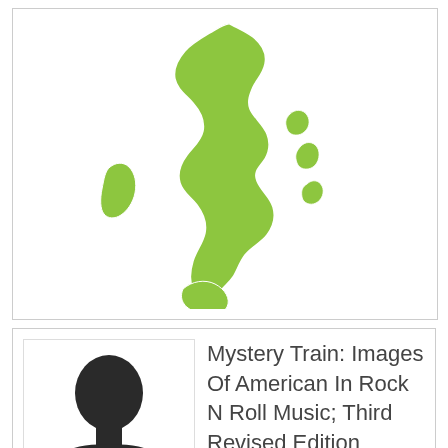[Figure (map): Green silhouette map of Italy and surrounding islands on white background]
[Figure (illustration): Generic person silhouette avatar (head and shoulders, dark gray on white)]
Mystery Train: Images Of American In Rock N Roll Music; Third Revised Edition (Plume)
Symphony K D Maj
Mystery Train: Images Of American In Rock N Roll Music; Third Revised Edition (Plume) PDF link
Mystery Train: Images Of American